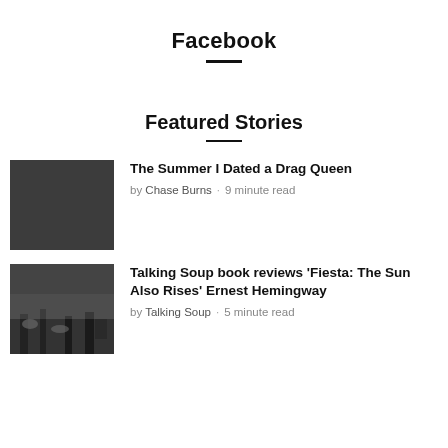Facebook
Featured Stories
The Summer I Dated a Drag Queen — by Chase Burns · 9 minute read
Talking Soup book reviews 'Fiesta: The Sun Also Rises' Ernest Hemingway — by Talking Soup · 5 minute read